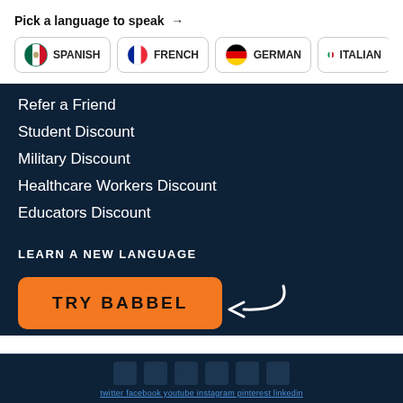Pick a language to speak →
[Figure (infographic): Row of language selection buttons: Spanish (Mexican flag), French (French flag), German (German flag), Italian (Italian flag, partially visible)]
Refer a Friend
Student Discount
Military Discount
Healthcare Workers Discount
Educators Discount
LEARN A NEW LANGUAGE
[Figure (infographic): Orange rounded button labeled TRY BABBEL with a white curved arrow pointing to it from the right]
[Figure (infographic): Footer with social media icons (Twitter, Facebook, YouTube, Instagram, Pinterest, LinkedIn) and a row of social media links]